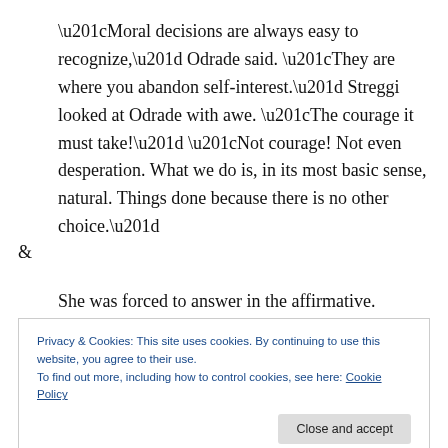“Moral decisions are always easy to recognize,” Odrade said. “They are where you abandon self-interest.” Streggi looked at Odrade with awe. “The courage it must take!” “Not courage! Not even desperation. What we do is, in its most basic sense, natural. Things done because there is no other choice.”
&
She was forced to answer in the affirmative. [About
Privacy & Cookies: This site uses cookies. By continuing to use this website, you agree to their use.
To find out more, including how to control cookies, see here: Cookie Policy
Close and accept
We walk a delicate line, perpetuating Atreides